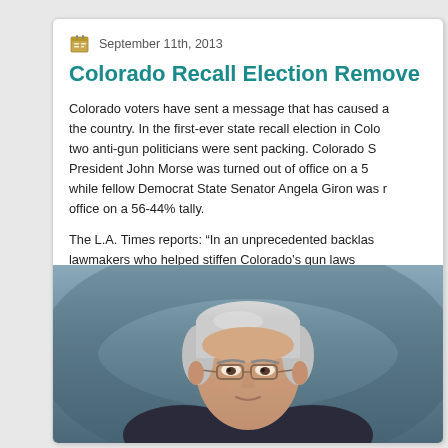September 11th, 2013
Colorado Recall Election Remove...
Colorado voters have sent a message that has caused a shockwave across the country. In the first-ever state recall election in Colorado's history, two anti-gun politicians were sent packing. Colorado State Senate President John Morse was turned out of office on a 51-49% margin, while fellow Democrat State Senator Angela Giron was removed from office on a 56-44% tally.
The L.A. Times reports: “In an unprecedented backlash, two Colorado lawmakers who helped stiffen Colorado’s gun laws were ousted Tuesday in a recall that turned into a nationally watched referendum on gun control.” Two new Republican-party Senators, George Rivera and officer George Rivera, were elected to replace Morse and...
[Figure (photo): Portrait photo of a middle-aged man with gray-white hair, wearing glasses and a dark suit, photographed against a blue-gray background.]